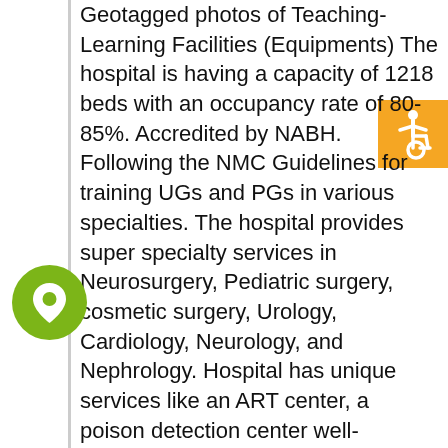Geotagged photos of Teaching-Learning Facilities (Equipments) The hospital is having a capacity of 1218 beds with an occupancy rate of 80-85%. Accredited by NABH. Following the NMC Guidelines for training UGs and PGs in various specialties. The hospital provides super specialty services in Neurosurgery, Pediatric surgery, cosmetic surgery, Urology, Cardiology, Neurology, and Nephrology. Hospital has unique services like an ART center, a poison detection center well-equipped laboratory. Facilities are per stipulations of the respective regulatory bodies with geotagging CHIP CAMERA FOR NASAL ENDOSCOPY ACETABULAR REAMER SYSTEM A...
[Figure (illustration): Orange square with white wheelchair accessibility icon]
[Figure (illustration): Green circular location/map pin icon]